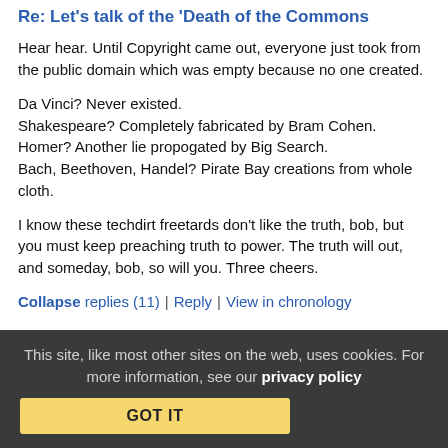Re: Let's talk of the 'Death of the Commons'
Hear hear. Until Copyright came out, everyone just took from the public domain which was empty because no one created.
Da Vinci? Never existed.
Shakespeare? Completely fabricated by Bram Cohen.
Homer? Another lie propogated by Big Search.
Bach, Beethoven, Handel? Pirate Bay creations from whole cloth.
I know these techdirt freetards don't like the truth, bob, but you must keep preaching truth to power. The truth will out, and someday, bob, so will you. Three cheers.
Collapse replies (11) | Reply | View in chronology
This site, like most other sites on the web, uses cookies. For more information, see our privacy policy
GOT IT